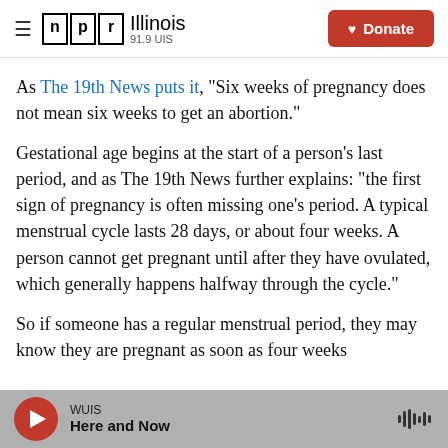NPR Illinois 91.9 UIS | Donate
As The 19th News puts it, "Six weeks of pregnancy does not mean six weeks to get an abortion."
Gestational age begins at the start of a person's last period, and as The 19th News further explains: "the first sign of pregnancy is often missing one's period. A typical menstrual cycle lasts 28 days, or about four weeks. A person cannot get pregnant until after they have ovulated, which generally happens halfway through the cycle."
So if someone has a regular menstrual period, they may know they are pregnant as soon as four weeks
WUIS | Here and Now